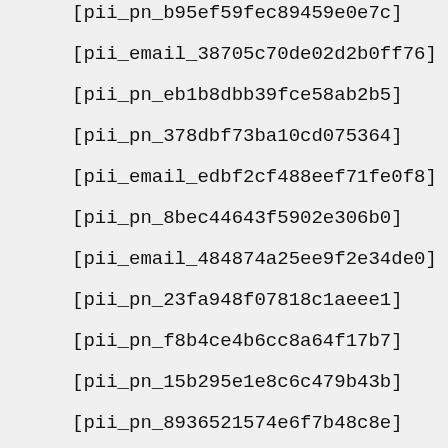[pii_pn_b95ef59fec89459e0e7c]
[pii_email_38705c70de02d2b0ff76]
[pii_pn_eb1b8dbb39fce58ab2b5]
[pii_pn_378dbf73ba10cd075364]
[pii_email_edbf2cf488eef71fe0f8]
[pii_pn_8bec44643f5902e306b0]
[pii_email_484874a25ee9f2e34de0]
[pii_pn_23fa948f07818c1aeee1]
[pii_pn_f8b4ce4b6cc8a64f17b7]
[pii_pn_15b295e1e8c6c479b43b]
[pii_pn_8936521574e6f7b48c8e]
[pii_email_ec35e96a99ec9772a6dc]
[pii_pn_c02eba3fc35478ba455b]
[pii_pn_fa3f8b1c86e36d0f9ef4]
[pii_pn_...